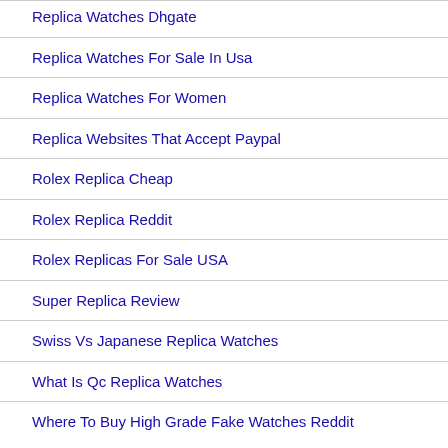Replica Watches Dhgate
Replica Watches For Sale In Usa
Replica Watches For Women
Replica Websites That Accept Paypal
Rolex Replica Cheap
Rolex Replica Reddit
Rolex Replicas For Sale USA
Super Replica Review
Swiss Vs Japanese Replica Watches
What Is Qc Replica Watches
Where To Buy High Grade Fake Watches Reddit